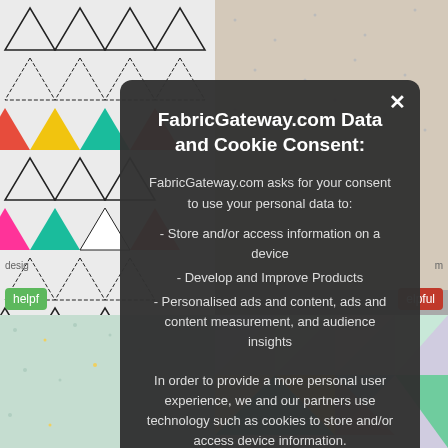[Figure (screenshot): Background showing fabric/quilt patterns — triangle patchwork fabric on the left, beige dotted fabric top right, green dotted fabric bottom left, and colorful geometric quilt bottom right. Green and red 'helpful' buttons partially visible.]
FabricGateway.com Data and Cookie Consent:
FabricGateway.com asks for your consent to use your personal data to:
- Store and/or access information on a device
- Develop and Improve Products
- Personalised ads and content, ads and content measurement, and audience insights
In order to provide a more personal user experience, we and our partners use technology such as cookies to store and/or access device information.